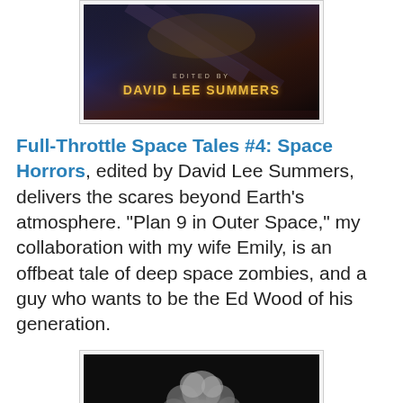[Figure (photo): Book cover image showing 'Edited by David Lee Summers' text on a dark background with sci-fi imagery]
Full-Throttle Space Tales #4: Space Horrors, edited by David Lee Summers, delivers the scares beyond Earth's atmosphere. “Plan 9 in Outer Space,” my collaboration with my wife Emily, is an offbeat tale of deep space zombies, and a guy who wants to be the Ed Wood of his generation.
[Figure (photo): A dark image showing an explosion cloud or mushroom cloud against a black background]